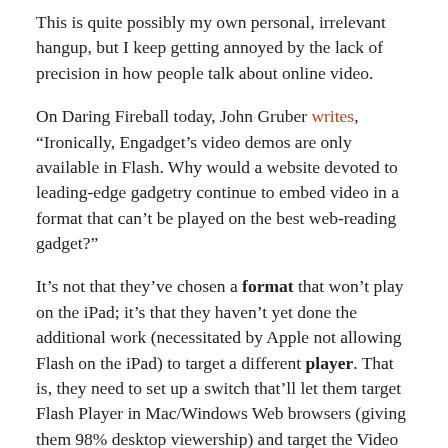This is quite possibly my own personal, irrelevant hangup, but I keep getting annoyed by the lack of precision in how people talk about online video.
On Daring Fireball today, John Gruber writes, “Ironically, Engadget’s video demos are only available in Flash. Why would a website devoted to leading-edge gadgetry continue to embed video in a format that can’t be played on the best web-reading gadget?”
It’s not that they’ve chosen a format that won’t play on the iPad; it’s that they haven’t yet done the additional work (necessitated by Apple not allowing Flash on the iPad) to target a different player. That is, they need to set up a switch that’ll let them target Flash Player in Mac/Windows Web browsers (giving them 98% desktop viewership) and target the Video tag in Mobile Safari. They can use the same format (H.264) in both cases.